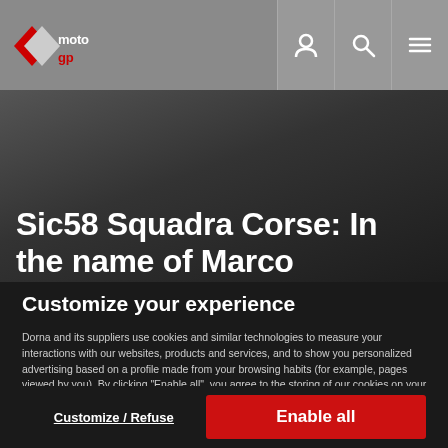MotoGP navigation bar with logo and icons
Sic58 Squadra Corse: In the name of Marco
Customize your experience
Dorna and its suppliers use cookies and similar technologies to measure your interactions with our websites, products and services, and to show you personalized advertising based on a profile made from your browsing habits (for example, pages viewed by you). By clicking “Enable all”, you agree to the storing of our cookies on your device for those purposes. By clicking “Customize” you can choose which categories of cookies you prefer to enable or refuse, and you can also choose to refuse them all. You can always check our Cookies Policy for further information.  Cookie Policy
Customize / Refuse
Enable all